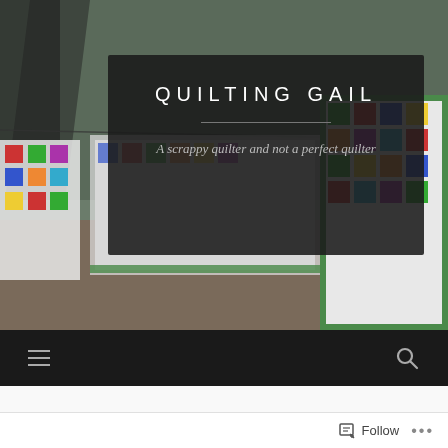[Figure (photo): Hero header image of quilts hanging on clotheslines outdoors with trees in background, overlaid with dark semi-transparent box containing blog title and tagline]
QUILTING GAIL
A scrappy quilter and not a perfect quilter
Navigation bar with hamburger menu icon and search icon
Island Batik 3D Challenge #3
Follow ···